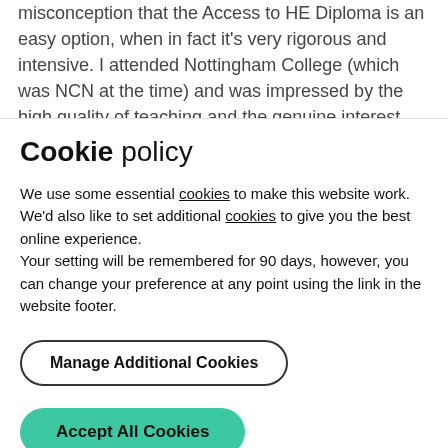misconception that the Access to HE Diploma is an easy option, when in fact it's very rigorous and intensive. I attended Nottingham College (which was NCN at the time) and was impressed by the high quality of teaching and the genuine interest and investment that our teachers had in our success.
The course was coursework-based, and covered a number of
Cookie policy
We use some essential cookies to make this website work. We'd also like to set additional cookies to give you the best online experience.
Your setting will be remembered for 90 days, however, you can change your preference at any point using the link in the website footer.
Manage Additional Cookies
Accept All Cookies